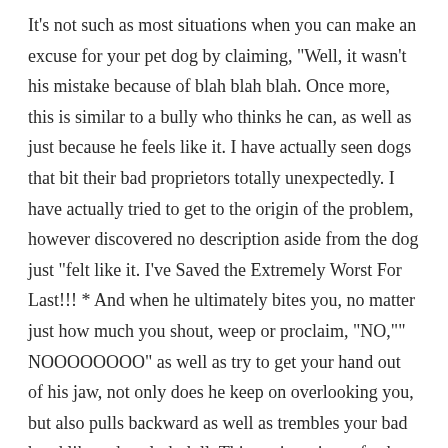It's not such as most situations when you can make an excuse for your pet dog by claiming, "Well, it wasn't his mistake because of blah blah blah. Once more, this is similar to a bully who thinks he can, as well as just because he feels like it. I have actually seen dogs that bit their bad proprietors totally unexpectedly. I have actually tried to get to the origin of the problem, however discovered no description aside from the dog just "felt like it. I've Saved the Extremely Worst For Last!!! * And when he ultimately bites you, no matter just how much you shout, weep or proclaim, "NO,"" NOOOOOOOO" as well as try to get your hand out of his jaw, not only does he keep on overlooking you, but also pulls backward as well as trembles your bad hand like a dustcloth doll. This set is a piece of cake. You require to work with a specialist that in fact deals as well as accepts such cases on a regular basis. I am one of them, yet say thanks to goodness not the just one. Consider it this way. Will any